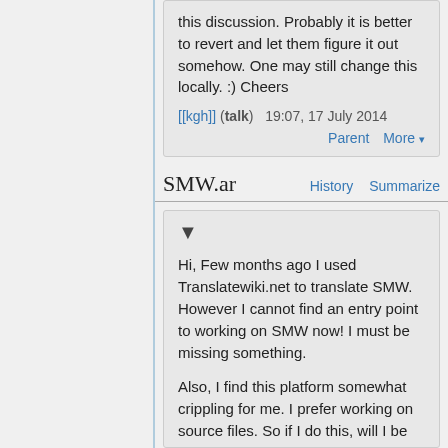this discussion. Probably it is better to revert and let them figure it out somehow. One may still change this locally. :) Cheers
[[kgh]] (talk)   19:07, 17 July 2014
Parent   More
SMW.ar   History   Summarize
▼
Hi, Few months ago I used Translatewiki.net to translate SMW. However I cannot find an entry point to working on SMW now! I must be missing something.
Also, I find this platform somewhat crippling for me. I prefer working on source files. So if I do this, will I be able to submit the result for